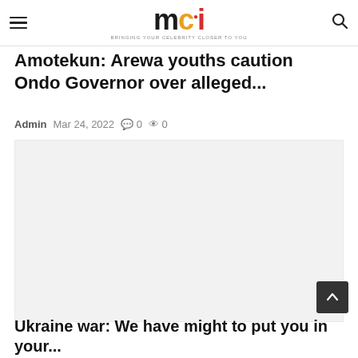mci — BRINGING YOUR CELEBRITY CLOSER TO YOU
Amotekun: Arewa youths caution Ondo Governor over alleged...
Admin  Mar 24, 2022  0  0
[Figure (photo): Light grey placeholder image for the article about Amotekun and Arewa youths]
Ukraine war: We have might to put you in your...